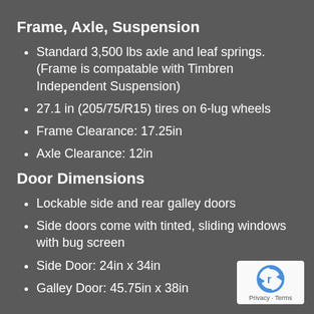Frame, Axle, Suspension
Standard 3,500 lbs axle and leaf springs. (Frame is compatable with Timbren Independent Suspension)
27.1 in (205/75/R15) tires on 6-lug wheels
Frame Clearance: 17.25in
Axle Clearance: 12in
Door Dimensions
Lockable side and rear galley doors
Side doors come with tinted, sliding windows with bug screen
Side Door: 24in x 34in
Galley Door: 45.75in x 38in
[Figure (logo): reCAPTCHA logo badge with Privacy and Terms text]